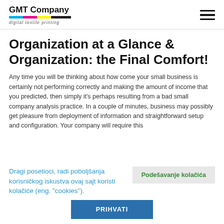GMT Company digital textile printing
Organization at a Glance & Organization: the Final Comfort!
Any time you will be thinking about how come your small business is certainly not performing correctly and making the amount of income that you predicted, then simply it’s perhaps resulting from a bad small company analysis practice. In a couple of minutes, business may possibly get pleasure from deployment of information and straightforward setup and configuration. Your company will require this
Dragi posetioci, radi poboljšanja korisničkog iskustva ovaj sajt koristi kolačiće (eng. "cookies").
Podešavanje kolačića
PRIHVATI